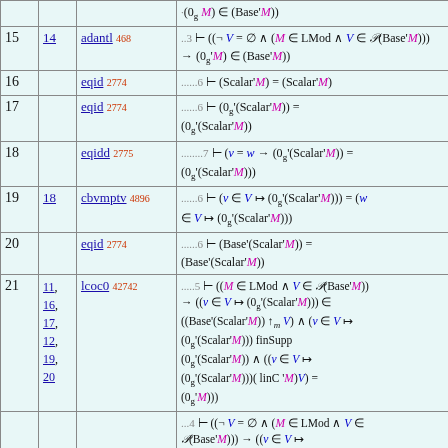| Step | Ref | Rule | Formula |
| --- | --- | --- | --- |
| 15 | 14 | adantl 468 | ..3 ⊢ ((¬ V = ∅ ∧ (M ∈ LMod ∧ V ∈ 𝒫(Base'M))) → (0g'M) ∈ (Base'M)) |
| 16 |  | eqid 2774 | .....6 ⊢ (Scalar'M) = (Scalar'M) |
| 17 |  | eqid 2774 | .....6 ⊢ (0g'(Scalar'M)) = (0g'(Scalar'M)) |
| 18 |  | eqidd 2775 | .......7 ⊢ (v = w → (0g'(Scalar'M)) = (0g'(Scalar'M))) |
| 19 | 18 | cbvmptv 4896 | .....6 ⊢ (v ∈ V ↦ (0g'(Scalar'M))) = (w ∈ V ↦ (0g'(Scalar'M))) |
| 20 |  | eqid 2774 | .....6 ⊢ (Base'(Scalar'M)) = (Base'(Scalar'M)) |
| 21 | 11, 16, 17, 12, 19, 20 | lcoc0 42742 | .....5 ⊢ ((M ∈ LMod ∧ V ∈ 𝒫(Base'M)) → ((v ∈ V ↦ (0g'(Scalar'M))) ∈ ((Base'(Scalar'M)) ↑m V) ∧ (v ∈ V ↦ (0g'(Scalar'M))) finSupp (0g'(Scalar'M)) ∧ ((v ∈ V ↦ (0g'(Scalar'M)))( linC 'M)V) = (0g'M))) |
| 22 | 21 | ... | ...4 ⊢ ((¬ V = ∅ ∧ (M ∈ LMod ∧ V ∈ 𝒫(Base'M))) → ((v ∈ V ↦ (0g'(Scalar'M))) ∈ ((Base'(Scalar'M)) ↑m V) ∧ (v ∈ V ↦ (0g'(Scalar'M)))... |